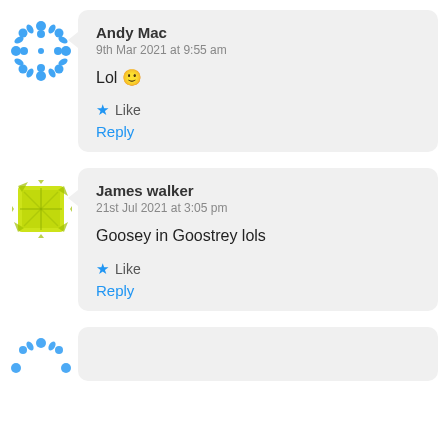[Figure (illustration): Blue snowflake/fractal circular avatar icon]
Andy Mac
9th Mar 2021 at 9:55 am

Lol 🙂

★ Like
Reply
[Figure (illustration): Yellow-green splatter/paint square avatar icon]
James walker
21st Jul 2021 at 3:05 pm

Goosey in Goostrey lols

★ Like
Reply
[Figure (illustration): Blue avatar icon partially visible at bottom]